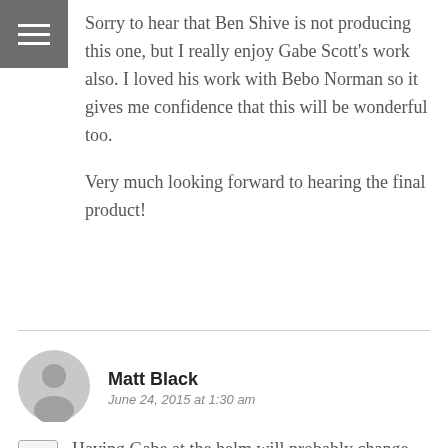[Figure (other): Hamburger menu icon (three horizontal white lines on dark gray background)]
Sorry to hear that Ben Shive is not producing this one, but I really enjoy Gabe Scott's work also. I loved his work with Bebo Norman so it gives me confidence that this will be wonderful too.

Very much looking forward to hearing the final product!
Matt Black
June 24, 2015 at 1:30 am
Having Gabe at the helm will probably change things but if there is any resembelence of the kind of sound and textures that they had together they were opening for Caedmon's way back in the day it will be a very "kid brothers of st.frank sound"...hopefully. (I'm